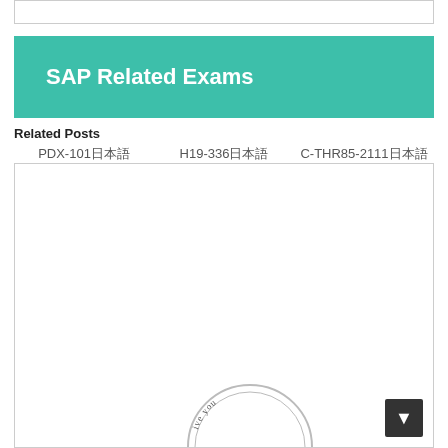SAP Related Exams
Related Posts
PDX-101日本語
H19-336日本語
C-THR85-2111日本語
[Figure (illustration): Partial circular stamp/seal at the bottom of the content box with text 'ive you' visible along the arc]